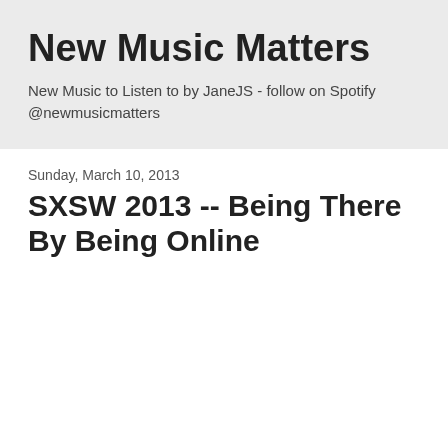New Music Matters
New Music to Listen to by JaneJS - follow on Spotify @newmusicmatters
Sunday, March 10, 2013
SXSW 2013 -- Being There By Being Online
Not everyone is heading to Austin this week for South by